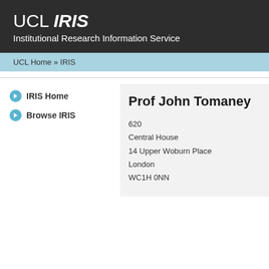UCL IRIS
Institutional Research Information Service
UCL Home » IRIS
IRIS Home
Browse IRIS
Prof John Tomaney
620
Central House
14 Upper Woburn Place
London
WC1H 0NN
Profile